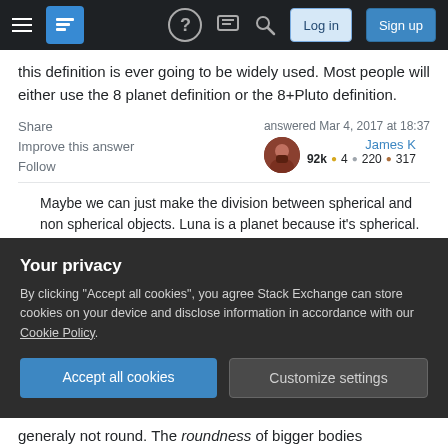Stack Exchange navigation bar with hamburger menu, logo, help, comments, search icons, Log in and Sign up buttons
this definition is ever going to be widely used. Most people will either use the 8 planet definition or the 8+Pluto definition.
Share | answered Mar 4, 2017 at 18:37 | James K | 92k ●4 ●220 ●317
Improve this answer
Follow
Maybe we can just make the division between spherical and non spherical objects. Luna is a planet because it's spherical. Phobos is not a planet because it's not spherical. this also is relevant to Pluto...
Your privacy
By clicking "Accept all cookies", you agree Stack Exchange can store cookies on your device and disclose information in accordance with our Cookie Policy.
Accept all cookies | Customize settings
generaly not round. The roundness of bigger bodies